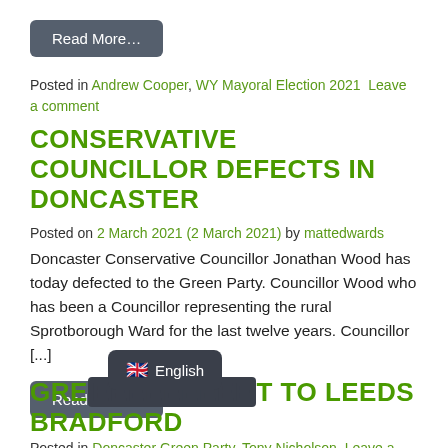Read More...
Posted in Andrew Cooper, WY Mayoral Election 2021  Leave a comment
CONSERVATIVE COUNCILLOR DEFECTS IN DONCASTER
Posted on 2 March 2021 (2 March 2021) by mattedwards
Doncaster Conservative Councillor Jonathan Wood has today defected to the Green Party. Councillor Wood who has been a Councillor representing the rural Sprotborough Ward for the last twelve years. Councillor [...]
Read More...
Posted in Doncaster Green Party, Tony Nicholson  Leave a comment
[Figure (other): Language selector badge showing UK flag and 'English' text]
GREE[N PARTY SUPPOR]T TO LEEDS BRADFORD